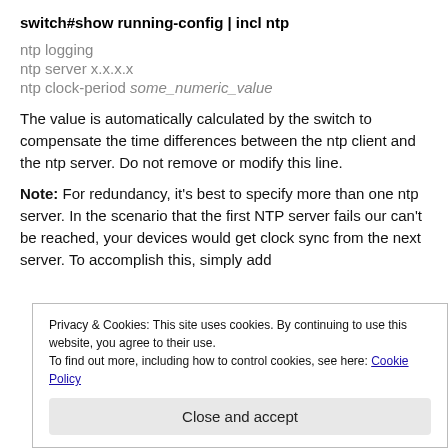switch#show running-config | incl ntp
ntp logging
ntp server x.x.x.x
ntp clock-period some_numeric_value
The value is automatically calculated by the switch to compensate the time differences between the ntp client and the ntp server. Do not remove or modify this line.
Note: For redundancy, it's best to specify more than one ntp server. In the scenario that the first NTP server fails our can't be reached, your devices would get clock sync from the next server. To accomplish this, simply add
Privacy & Cookies: This site uses cookies. By continuing to use this website, you agree to their use.
To find out more, including how to control cookies, see here: Cookie Policy
Close and accept